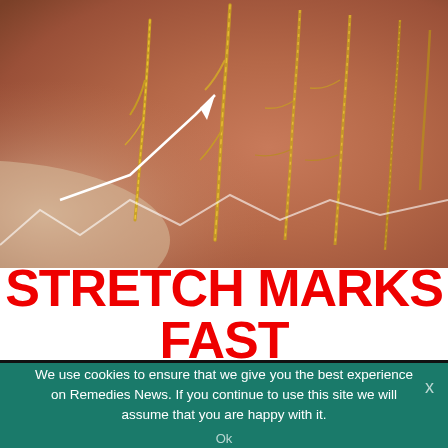[Figure (photo): Close-up photo of skin (pregnant belly) with stretch marks decorated or highlighted in gold glitter, with a white arrow/pointer graphic overlay pointing to one of the stretch marks]
STRETCH MARKS FAST
We use cookies to ensure that we give you the best experience on Remedies News. If you continue to use this site we will assume that you are happy with it.
Ok